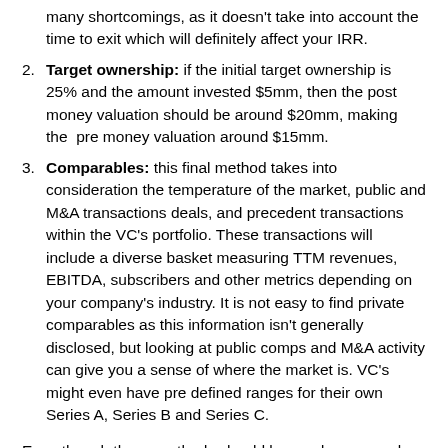many shortcomings, as it doesn't take into account the time to exit which will definitely affect your IRR.
Target ownership: if the initial target ownership is 25% and the amount invested $5mm, then the post money valuation should be around $20mm, making the pre money valuation around $15mm.
Comparables: this final method takes into consideration the temperature of the market, public and M&A transactions deals, and precedent transactions within the VC's portfolio. These transactions will include a diverse basket measuring TTM revenues, EBITDA, subscribers and other metrics depending on your company's industry. It is not easy to find private comparables as this information isn't generally disclosed, but looking at public comps and M&A activity can give you a sense of where the market is. VC's might even have pre defined ranges for their own Series A, Series B and Series C.
Even though these methods should be used as general frameworks, adjustments need to me made for different scenarios. For example, the cash on cash hurdle will be